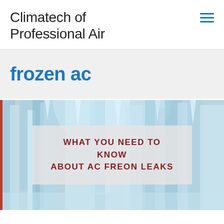Climatech of Professional Air
frozen ac
[Figure (photo): Frozen ice formations in shades of blue and white, with an overlay box containing bold dark red uppercase text reading 'WHAT YOU NEED TO KNOW ABOUT AC FREON LEAKS']